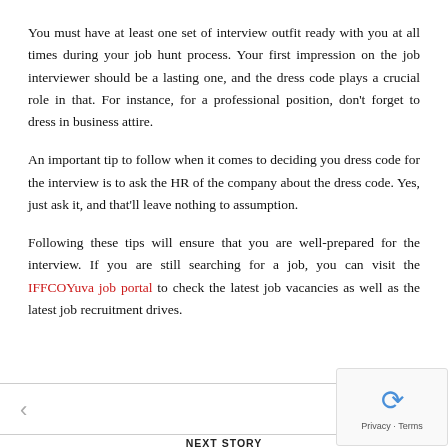You must have at least one set of interview outfit ready with you at all times during your job hunt process. Your first impression on the job interviewer should be a lasting one, and the dress code plays a crucial role in that. For instance, for a professional position, don't forget to dress in business attire.
An important tip to follow when it comes to deciding you dress code for the interview is to ask the HR of the company about the dress code. Yes, just ask it, and that'll leave nothing to assumption.
Following these tips will ensure that you are well-prepared for the interview. If you are still searching for a job, you can visit the IFFCOYuva job portal to check the latest job vacancies as well as the latest job recruitment drives.
PREVIOUS STORY
Reasons to Go for the 2019 GMC Yukon
NEXT STORY
Fertility and Ovulation: The Key to Conception